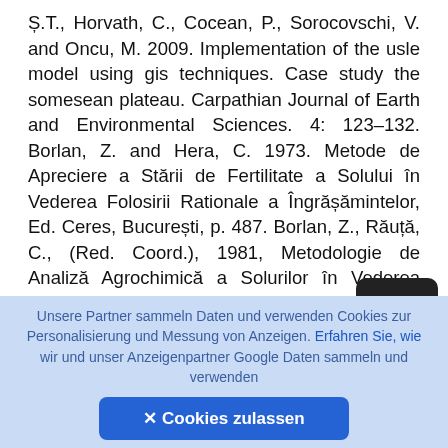Ș.T., Horvath, C., Cocean, P., Sorocovschi, V. and Oncu, M. 2009. Implementation of the usle model using gis techniques. Case study the somesean plateau. Carpathian Journal of Earth and Environmental Sciences. 4: 123–132. Borlan, Z. and Hera, C. 1973. Metode de Apreciere a Stării de Fertilitate a Solului în Vederea Folosirii Rationale a Îngrășămintelor, Ed. Ceres, București, p. 487. Borlan, Z., Răuță, C., (Red. Coord.), 1981, Metodologie de Analiză Agrochimică a Solurilor în Vederea Stabilirii Necesarului de Amendamente și Îngrășămin... 2. Seria Metode, raporte și îndrumări, ICPA, 3. 489. Boț, A. 2017. Assessment of land favorability from Northwest Region of Development for blueberry
Unsere Partner sammeln Daten und verwenden Cookies zur Personalisierung und Messung von Anzeigen. Erfahren Sie, wie wir und unser Anzeigenpartner Google Daten sammeln und verwenden